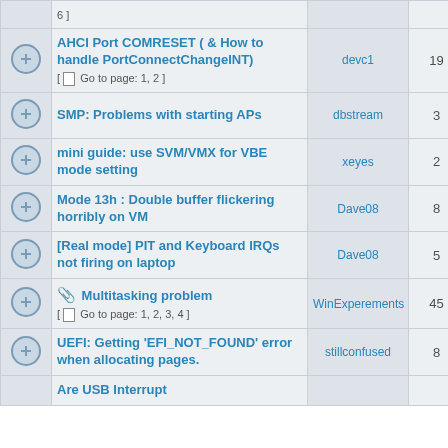|  | Topic | Author | Replies | Views | Last Post |
| --- | --- | --- | --- | --- | --- |
|  | [ Go to page: 6 ] |  |  |  |  |
|  | AHCI Port COMRESET ( & How to handle PortConnectChangeINT)
[ Go to page: 1, 2 ] | devc1 | 19 | 983 | Wed |
|  | SMP: Problems with starting APs | dbstream | 3 | 275 | Tue |
|  | mini guide: use SVM/VMX for VBE mode setting | xeyes | 2 | 633 | Tue |
|  | Mode 13h : Double buffer flickering horribly on VM | Dave08 | 8 | 548 | Mon |
|  | [Real mode] PIT and Keyboard IRQs not firing on laptop | Dave08 | 5 | 323 | Mon |
|  | Multitasking problem
[ Go to page: 1, 2, 3, 4 ] | WinExperements | 45 | 1879 | Sat |
|  | UEFI: Getting 'EFI_NOT_FOUND' error when allocating pages. | stillconfused | 8 | 405 | Fri |
|  | Are USB Interrupt |  |  |  |  |